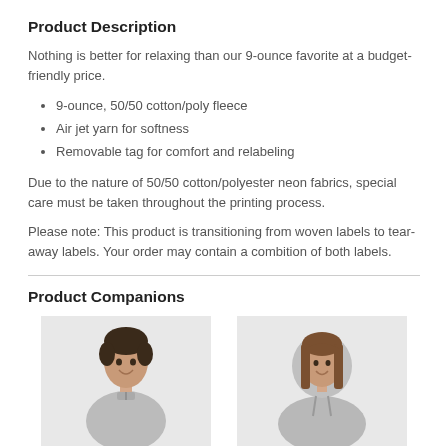Product Description
Nothing is better for relaxing than our 9-ounce favorite at a budget-friendly price.
9-ounce, 50/50 cotton/poly fleece
Air jet yarn for softness
Removable tag for comfort and relabeling
Due to the nature of 50/50 cotton/polyester neon fabrics, special care must be taken throughout the printing process.
Please note: This product is transitioning from woven labels to tear-away labels. Your order may contain a combition of both labels.
Product Companions
[Figure (photo): Man wearing a grey quarter-zip fleece pullover]
[Figure (photo): Woman wearing a grey hoodie sweatshirt]